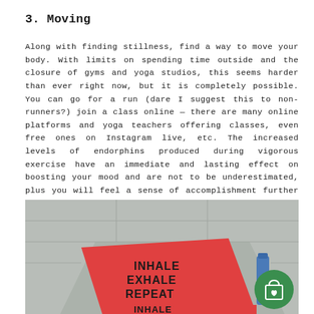3. Moving
Along with finding stillness, find a way to move your body. With limits on spending time outside and the closure of gyms and yoga studios, this seems harder than ever right now, but it is completely possible. You can go for a run (dare I suggest this to non-runners?) join a class online — there are many online platforms and yoga teachers offering classes, even free ones on Instagram live, etc. The increased levels of endorphins produced during vigorous exercise have an immediate and lasting effect on boosting your mood and are not to be underestimated, plus you will feel a sense of accomplishment further contributing to your mental wellbeing.
[Figure (photo): A red yoga mat on a pavement with text reading INHALE EXHALE REPEAT printed on it, and a blue water bottle beside it. The mat is partially unrolled showing the words twice. A green circular shopping cart button overlay appears in the bottom right.]